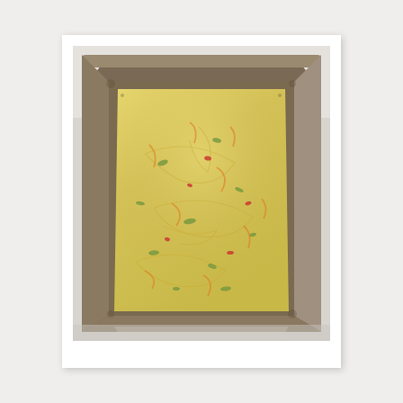[Figure (photo): A close-up photograph of a square metal baking pan filled with a yellowish, textured batter containing visible pieces of green jalapeños and red peppers, likely a jalapeño cornbread or similar cheesy batter, viewed from above at an angle showing the pan's metallic interior edges.]